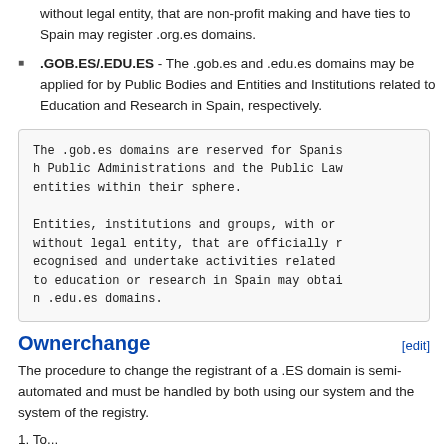without legal entity, that are non-profit making and have ties to Spain may register .org.es domains.
.GOB.ES/.EDU.ES - The .gob.es and .edu.es domains may be applied for by Public Bodies and Entities and Institutions related to Education and Research in Spain, respectively.
The .gob.es domains are reserved for Spanish Public Administrations and the Public Law entities within their sphere.

Entities, institutions and groups, with or without legal entity, that are officially recognised and undertake activities related to education or research in Spain may obtain .edu.es domains.
Ownerchange
The procedure to change the registrant of a .ES domain is semi-automated and must be handled by both using our system and the system of the registry.
1. To...